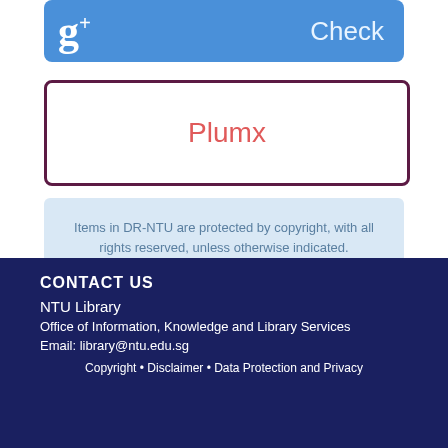[Figure (other): Google Scholar blue button with 'Check' text]
Plumx
Items in DR-NTU are protected by copyright, with all rights reserved, unless otherwise indicated.
CONTACT US
NTU Library
Office of Information, Knowledge and Library Services
Email: library@ntu.edu.sg
Copyright • Disclaimer • Data Protection and Privacy